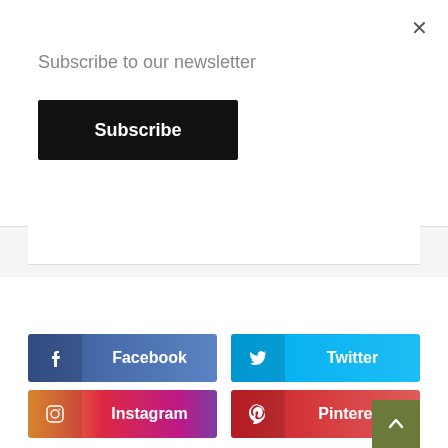×
Subscribe to our newsletter
Subscribe
[Figure (screenshot): Newsletter subscription modal overlay with close button, subscribe text, and black Subscribe button, above a light gray divider section]
[Figure (infographic): Four social media share buttons: Facebook (dark blue), Twitter (light blue), Instagram (gradient pink-purple), Pinterest (red), with a green scroll-to-top arrow button]
f  Facebook
🐦  Twitter
Instagram
Pinterest